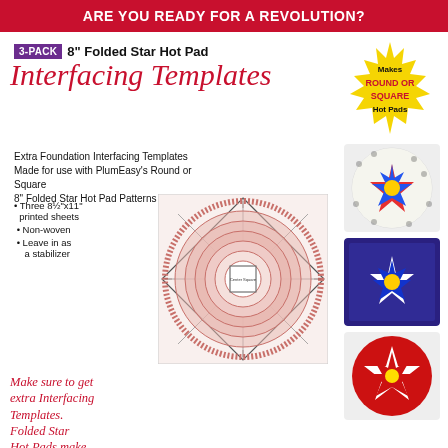ARE YOU READY FOR A REVOLUTION?
3-PACK 8" Folded Star Hot Pad Interfacing Templates
[Figure (infographic): Yellow starburst badge reading: Makes ROUND OR SQUARE Hot Pads]
Extra Foundation Interfacing Templates Made for use with PlumEasy's Round or Square 8" Folded Star Hot Pad Patterns
Three 8½"x11" printed sheets
Non-woven
Leave in as a stabilizer
[Figure (illustration): Folded star hot pad interfacing template sheet showing concentric circles and diagonal lines with center square label]
[Figure (photo): Round folded star hot pad with colorful star pattern on white background with polka dots]
[Figure (photo): Square folded star hot pad with blue and white star pattern with yellow center]
[Figure (photo): Round red folded star hot pad with white star pattern]
Make sure to get extra Interfacing Templates. Folded Star Hot Pads make